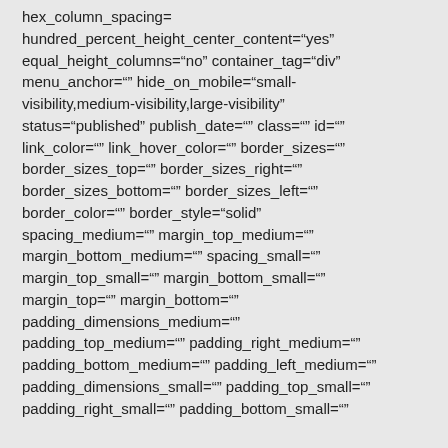hex_column_spacing= hundred_percent_height_center_content="yes" equal_height_columns="no" container_tag="div" menu_anchor="" hide_on_mobile="small-visibility,medium-visibility,large-visibility" status="published" publish_date="" class="" id="" link_color="" link_hover_color="" border_sizes="" border_sizes_top="" border_sizes_right="" border_sizes_bottom="" border_sizes_left="" border_color="" border_style="solid" spacing_medium="" margin_top_medium="" margin_bottom_medium="" spacing_small="" margin_top_small="" margin_bottom_small="" margin_top="" margin_bottom="" padding_dimensions_medium="" padding_top_medium="" padding_right_medium="" padding_bottom_medium="" padding_left_medium="" padding_dimensions_small="" padding_top_small="" padding_right_small="" padding_bottom_small=""